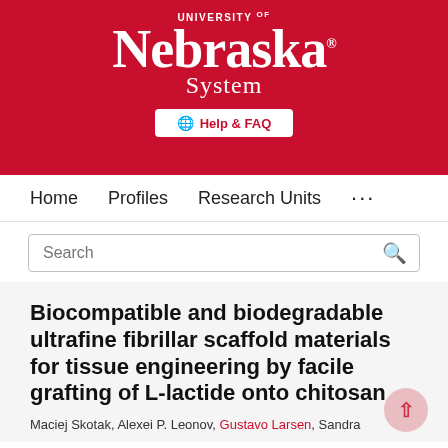[Figure (logo): University of Nebraska System logo — white text on red background with 'UNIVERSITY OF Nebraska. System' wordmark]
Help & FAQ
Home   Profiles   Research Units   ...
Search
Biocompatible and biodegradable ultrafine fibrillar scaffold materials for tissue engineering by facile grafting of L-lactide onto chitosan
Maciej Skotak, Alexei P. Leonov, Gustavo Larsen, Sandra